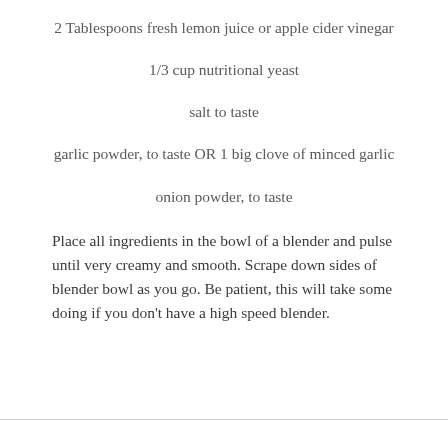2 Tablespoons fresh lemon juice or apple cider vinegar
1/3 cup nutritional yeast
salt to taste
garlic powder, to taste OR 1 big clove of minced garlic
onion powder, to taste
Place all ingredients in the bowl of a blender and pulse until very creamy and smooth. Scrape down sides of blender bowl as you go. Be patient, this will take some doing if you don’t have a high speed blender.